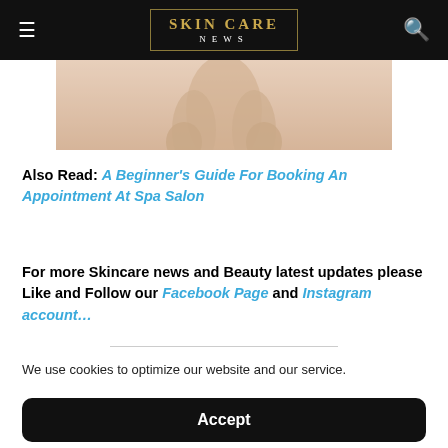SKIN CARE NEWS
[Figure (photo): Partial view of a person touching their face/neck with hands raised, light/neutral background]
Also Read: A Beginner's Guide For Booking An Appointment At Spa Salon
For more Skincare news and Beauty latest updates please Like and Follow our Facebook Page and Instagram account…
We use cookies to optimize our website and our service.
Accept
Cookie Policy  Terms and conditions